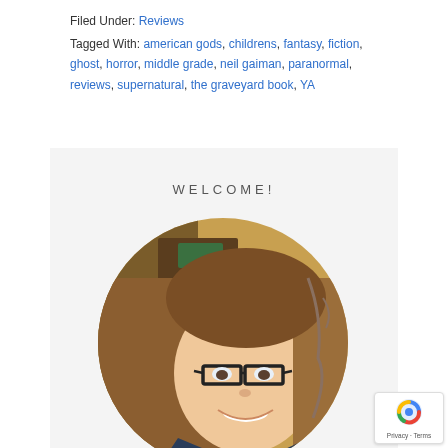Filed Under: Reviews
Tagged With: american gods, childrens, fantasy, fiction, ghost, horror, middle grade, neil gaiman, paranormal, reviews, supernatural, the graveyard book, YA
WELCOME!
[Figure (photo): Circular cropped photo of a smiling young woman with long brown hair and black-rimmed glasses, seated in what appears to be a cafe or pub setting. Another person is visible in the background.]